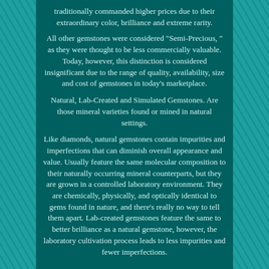traditionally commanded higher prices due to their extraordinary color, brilliance and extreme rarity.
All other gemstones were considered "Semi-Precious, " as they were thought to be less commercially valuable. Today, however, this distinction is considered insignificant due to the range of quality, availability, size and cost of gemstones in today's marketplace.
Natural, Lab-Created and Simulated Gemstones. Are those mineral varieties found or mined in natural settings.
Like diamonds, natural gemstones contain impurities and imperfections that can diminish overall appearance and value. Usually feature the same molecular composition to their naturally occurring mineral counterparts, but they are grown in a controlled laboratory environment. They are chemically, physically, and optically identical to gems found in nature, and there's really no way to tell them apart. Lab-created gemstones feature the same to better brilliance as a natural gemstone, however, the laboratory cultivation process leads to less impurities and fewer imperfections.